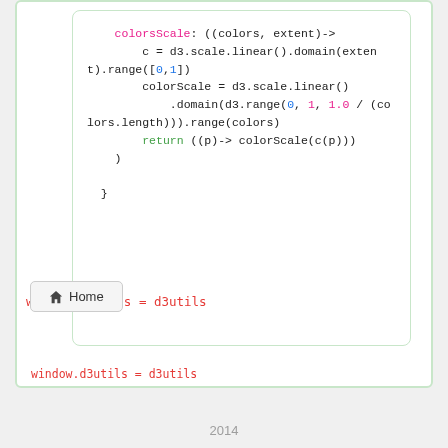[Figure (screenshot): Code snippet showing JavaScript/CoffeeScript code with colorsScale function definition and window.d3utils assignment, displayed in a white rounded box with green border]
Home (button with house icon)
2014